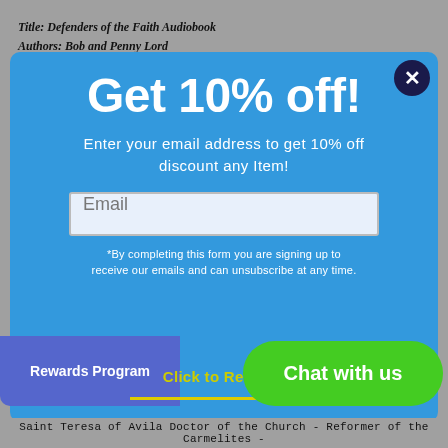Title: Defenders of the Faith Audiobook
Authors: Bob and Penny Lord
Get 10% off!
Enter your email address to get 10% off discount any Item!
Email
*By completing this form you are signing up to receive our emails and can unsubscribe at any time.
Rewards Program
Click to Reveal Code
Chat with us
Saint Teresa of Avila Doctor of the Church - Reformer of the Carmelites -